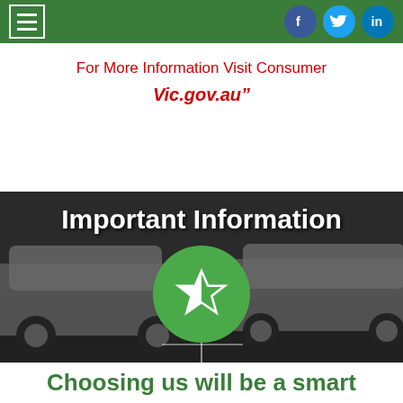Menu | Facebook | Twitter | LinkedIn
For More Information Visit Consumer Vic.gov.au"
[Figure (photo): Dark background photo of white cars in a parking lot with 'Important Information' text overlay and a green circle with a star icon]
Choosing us will be a smart